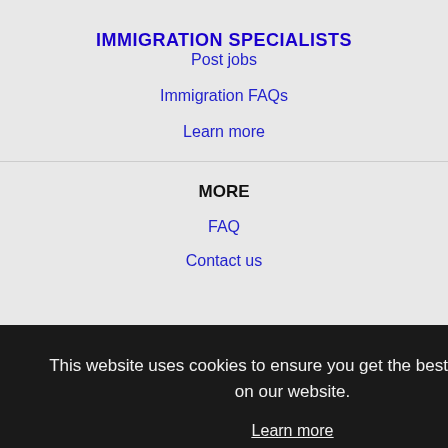IMMIGRATION SPECIALISTS
Post jobs
Immigration FAQs
Learn more
MORE
FAQ
Contact us
Sitemap
This website uses cookies to ensure you get the best experience on our website.
Learn more
Got it!
NEARBY CITIES
Blue Springs, MO Jobs
Independence, MO Jobs
Kansas City, KS Jobs